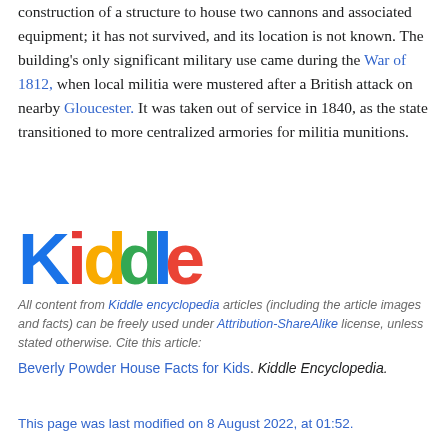construction of a structure to house two cannons and associated equipment; it has not survived, and its location is not known. The building's only significant military use came during the War of 1812, when local militia were mustered after a British attack on nearby Gloucester. It was taken out of service in 1840, as the state transitioned to more centralized armories for militia munitions.
[Figure (logo): Kiddle logo with colorful letters: K in blue, i in red, d in yellow, d in green, l in blue, e in orange]
All content from Kiddle encyclopedia articles (including the article images and facts) can be freely used under Attribution-ShareAlike license, unless stated otherwise. Cite this article:
Beverly Powder House Facts for Kids. Kiddle Encyclopedia.
This page was last modified on 8 August 2022, at 01:52.